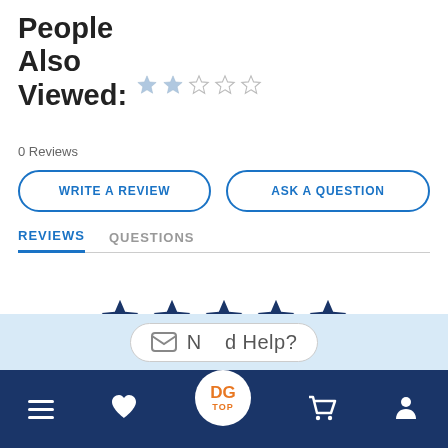People Also Viewed:
0 Reviews
WRITE A REVIEW
ASK A QUESTION
REVIEWS    QUESTIONS
[Figure (other): Five dark navy blue filled stars in a row indicating a rating display]
BE THE FIRST TO WRITE A REVIEW
Need Help?
Navigation bar with menu, heart, DG TOP, cart, and profile icons